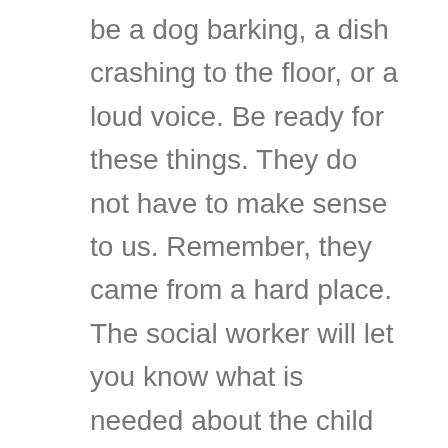be a dog barking, a dish crashing to the floor, or a loud voice. Be ready for these things. They do not have to make sense to us. Remember, they came from a hard place. The social worker will let you know what is needed about the child and you take it from there. As the child is placed in a new environment many times they will naturally revert back to some old “acting out” to get attention or they may be testing the water to see